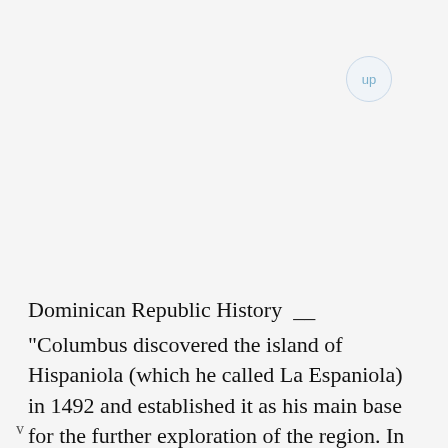up
Dominican Republic History
"Columbus discovered the island of Hispaniola (which he called La Espaniola) in 1492 and established it as his main base for the further exploration of the region. In 1697, the western part of the island came under French control, with the east remaining under Spanish control."  A